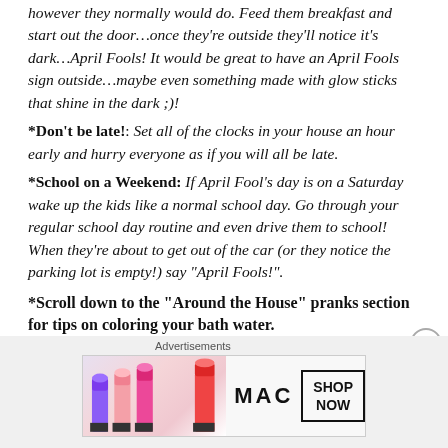however they normally would do. Feed them breakfast and start out the door…once they're outside they'll notice it's dark…April Fools! It would be great to have an April Fools sign outside…maybe even something made with glow sticks that shine in the dark ;)!
*Don't be late!: Set all of the clocks in your house an hour early and hurry everyone as if you will all be late.
*School on a Weekend: If April Fool's day is on a Saturday wake up the kids like a normal school day. Go through your regular school day routine and even drive them to school! When they're about to get out of the car (or they notice the parking lot is empty!) say "April Fools!".
*Scroll down to the "Around the House" pranks section for tips on coloring your bath water.
[Figure (photo): MAC cosmetics advertisement banner showing lipsticks in purple, pink and red colors with MAC logo and SHOP NOW call to action box]